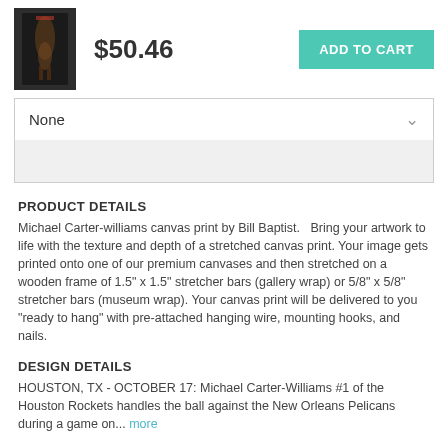[Figure (photo): Small product thumbnail of a basketball player canvas print]
$50.46
ADD TO CART
None
PRODUCT DETAILS
Michael Carter-williams canvas print by Bill Baptist.    Bring your artwork to life with the texture and depth of a stretched canvas print. Your image gets printed onto one of our premium canvases and then stretched on a wooden frame of 1.5" x 1.5" stretcher bars (gallery wrap) or 5/8" x 5/8" stretcher bars (museum wrap). Your canvas print will be delivered to you "ready to hang" with pre-attached hanging wire, mounting hooks, and nails.
DESIGN DETAILS
HOUSTON, TX - OCTOBER 17: Michael Carter-Williams #1 of the Houston Rockets handles the ball against the New Orleans Pelicans during a game on... more
SHIPS WITHIN
3 - 4 business days